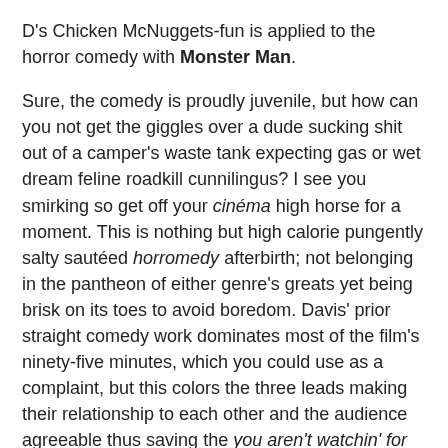D's Chicken McNuggets-fun is applied to the horror comedy with Monster Man.
Sure, the comedy is proudly juvenile, but how can you not get the giggles over a dude sucking shit out of a camper's waste tank expecting gas or wet dream feline roadkill cunnilingus? I see you smirking so get off your cinéma high horse for a moment. This is nothing but high calorie pungently salty sautéed horromedy afterbirth; not belonging in the pantheon of either genre's greats yet being brisk on its toes to avoid boredom. Davis' prior straight comedy work dominates most of the film's ninety-five minutes, which you could use as a complaint, but this colors the three leads making their relationship to each other and the audience agreeable thus saving the you aren't watchin' for this anyway story from being entirely pointless.
The last half hour is where the splat smacks the walls with plenty of textured grue, grisly living torsos, writer's best friend eye insertions, unwanted throat openings, and Bigfoot 2019: After the Fall of Monster Jam mayhem. Davis makes up for the dearth of balls out horror in the preceding otherwise